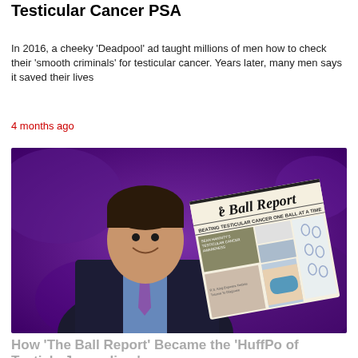Testicular Cancer PSA
In 2016, a cheeky 'Deadpool' ad taught millions of men how to check their 'smooth criminals' for testicular cancer. Years later, many men says it saved their lives
4 months ago
[Figure (photo): A news anchor or presenter in a suit standing in front of a purple background, holding or displaying a newspaper called 'The Ball Report' with subtitle 'Beating Testicular Cancer One Ball at a Time']
How 'The Ball Report' Became the 'HuffPo of Testicle Journalism'